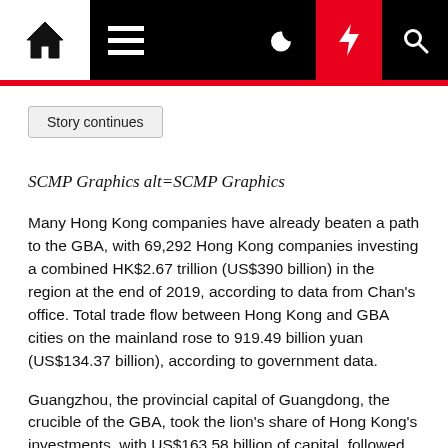Navigation bar with home, menu, dark mode, lightning/breaking news, and search icons
Story continues
SCMP Graphics alt=SCMP Graphics
Many Hong Kong companies have already beaten a path to the GBA, with 69,292 Hong Kong companies investing a combined HK$2.67 trillion (US$390 billion) in the region at the end of 2019, according to data from Chan's office. Total trade flow between Hong Kong and GBA cities on the mainland rose to 919.49 billion yuan (US$134.37 billion), according to government data.
Guangzhou, the provincial capital of Guangdong, the crucible of the GBA, took the lion's share of Hong Kong's investments, with US$163.58 billion of capital, followed by the manufacturing hub of Dongguan at US$... billion. The industry...